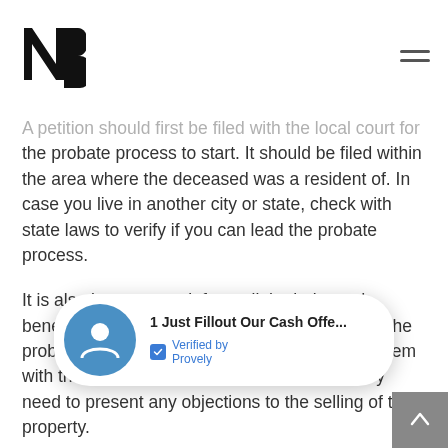B logo and hamburger menu
A petition should first be filed with the local court for the probate process to start. It should be filed within the area where the deceased was a resident of. In case you live in another city or state, check with state laws to verify if you can lead the probate process.
It is also important to inform all the heirs and beneficiaries that you will be filing a petition for the probate process to begin. You should provide them with the schedule of the probate hearing if they need to present any objections to the selling of the property.
Take note that the probate hearings are public records and they may be posted in the newspapers. People with who... estate didn't know about. These people can step forward to join the process.
[Figure (infographic): Notification popup overlay showing '1 Just Fillout Our Cash Offe...' with a blue avatar icon and 'Verified by Provely' badge]